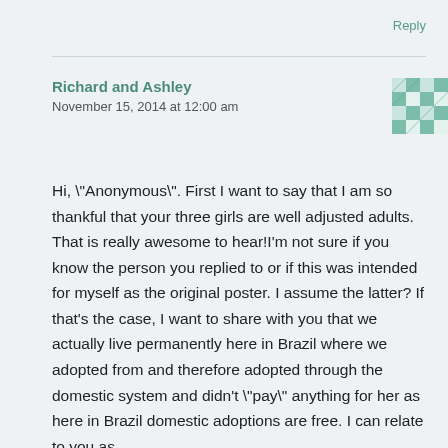Reply
Richard and Ashley
November 15, 2014 at 12:00 am
[Figure (illustration): Geometric avatar icon with teal/white quilt-like pattern]
Hi, \"Anonymous\". First I want to say that I am so thankful that your three girls are well adjusted adults. That is really awesome to hear!I'm not sure if you know the person you replied to or if this was intended for myself as the original poster. I assume the latter? If that's the case, I want to share with you that we actually live permanently here in Brazil where we adopted from and therefore adopted through the domestic system and didn't \"pay\" anything for her as here in Brazil domestic adoptions are free. I can relate to you as